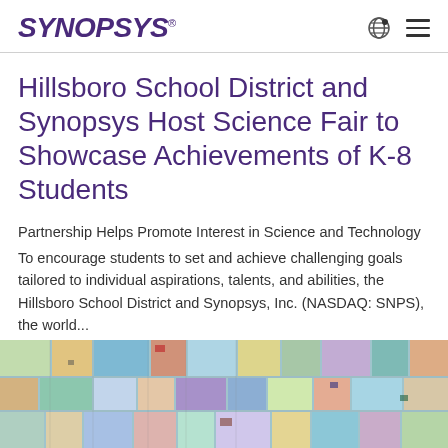SYNOPSYS
Hillsboro School District and Synopsys Host Science Fair to Showcase Achievements of K-8 Students
Partnership Helps Promote Interest in Science and Technology
To encourage students to set and achieve challenging goals tailored to individual aspirations, talents, and abilities, the Hillsboro School District and Synopsys, Inc. (NASDAQ: SNPS), the world...
[Figure (photo): Aerial view of colorful semiconductor chip wafer die layout with multicolored rectangular blocks]